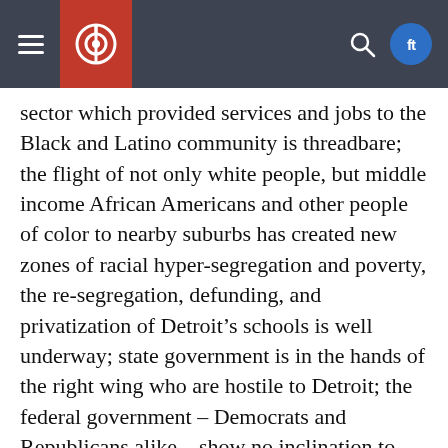Navigation header with hamburger menu, logo, search icon, and social icons
sector which provided services and jobs to the Black and Latino community is threadbare; the flight of not only white people, but middle income African Americans and other people of color to nearby suburbs has created new zones of racial hyper-segregation and poverty, the re-segregation, defunding, and privatization of Detroit’s schools is well underway; state government is in the hands of the right wing who are hostile to Detroit; the federal government – Democrats and Republicans alike – show no inclination to address the crisis either in Detroit or our nation’s urban centers; the Robert’s Supreme Court sits in Washington; the judicial system is turning vast numbers of young Detroiters into felons and criminals; and the current crisis has fractured as well as united the